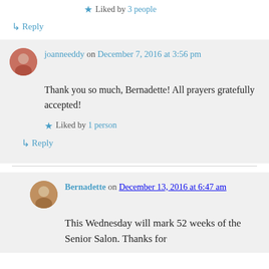★ Liked by 3 people
↳ Reply
joanneeddy on December 7, 2016 at 3:56 pm
Thank you so much, Bernadette! All prayers gratefully accepted!
★ Liked by 1 person
↳ Reply
Bernadette on December 13, 2016 at 6:47 am
This Wednesday will mark 52 weeks of the Senior Salon. Thanks for